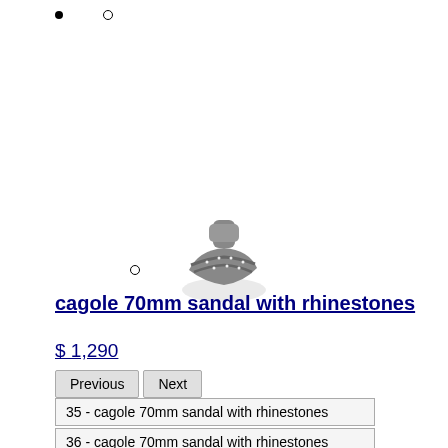[Figure (photo): A small decorative shoe/sandal with rhinestones, photographed from top-down, shown in grayscale.]
cagole 70mm sandal with rhinestones
$ 1,290
Previous | Next
35 - cagole 70mm sandal with rhinestones
36 - cagole 70mm sandal with rhinestones
37 - cagole 70mm sandal with rhinestones
38 - cagole 70mm sandal with rhinestones